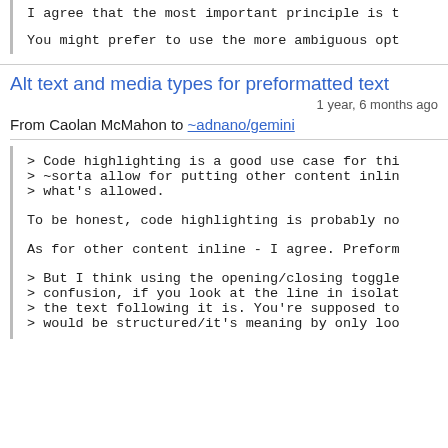I agree that the most important principle is t
You might prefer to use the more ambiguous opt
Alt text and media types for preformatted text
1 year, 6 months ago
From Caolan McMahon to ~adnano/gemini
> Code highlighting is a good use case for thi
> ~sorta allow for putting other content inlin
> what's allowed.
To be honest, code highlighting is probably no
As for other content inline - I agree. Preform
> But I think using the opening/closing toggle
> confusion, if you look at the line in isolat
> the text following it is. You're supposed to
> would be structured/it's meaning by only loo